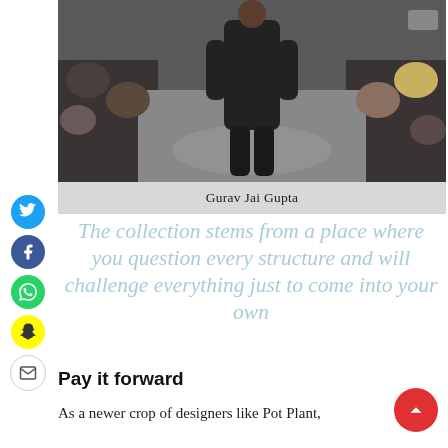[Figure (photo): A man dressed in all black walking down a fashion runway with audience seated on both sides]
Gurav Jai Gupta
The collection stems from a place where you question every structure and will challenge everything just to come into your own
Pay it forward
As a newer crop of designers like Pot Plant,